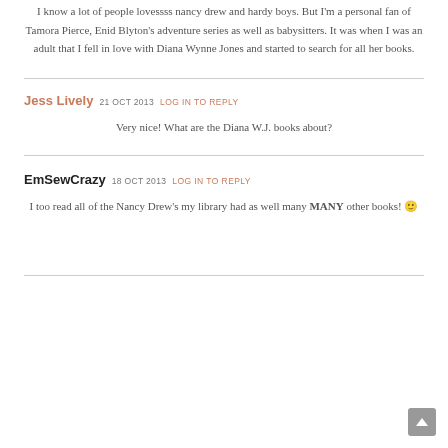I know a lot of people lovessss nancy drew and hardy boys. But I'm a personal fan of Tamora Pierce, Enid Blyton's adventure series as well as babysitters. It was when I was an adult that I fell in love with Diana Wynne Jones and started to search for all her books.
Jess Lively 21 OCT 2013 LOG IN TO REPLY
Very nice! What are the Diana W.J. books about?
EmSewCrazy 18 OCT 2013 LOG IN TO REPLY
I too read all of the Nancy Drew's my library had as well many MANY other books! 🙂